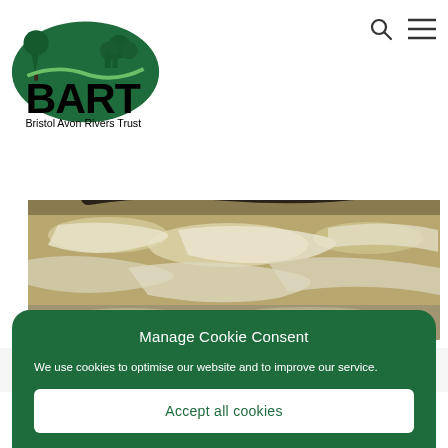[Figure (logo): BART Bristol Avon Rivers Trust logo with green tree/landscape graphic above bold BART text]
[Figure (photo): Rushing whitewater river rapids, turbulent water with dark rock or log visible]
River Chew Catchment Project:
Manage Cookie Consent
We use cookies to optimise our website and to improve our service.
Accept all cookies
Deny